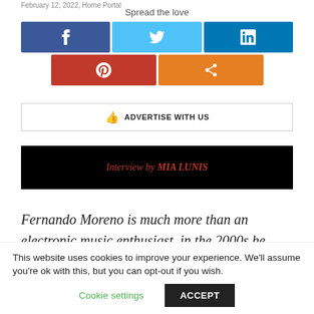February 12, 2022, Home Portal
Spread the love
[Figure (infographic): Social sharing buttons: Facebook (dark blue), Twitter (light blue), LinkedIn (blue), Pinterest (red), Share (orange)]
[Figure (infographic): Advertise with us button with thumbs up icon]
[Figure (infographic): Black banner with red italic text: Interview by MIA LUNIS]
Fernando Moreno is much more than an electronic music enthusiast, in the 2000s he
This website uses cookies to improve your experience. We'll assume you're ok with this, but you can opt-out if you wish.
Cookie settings   ACCEPT